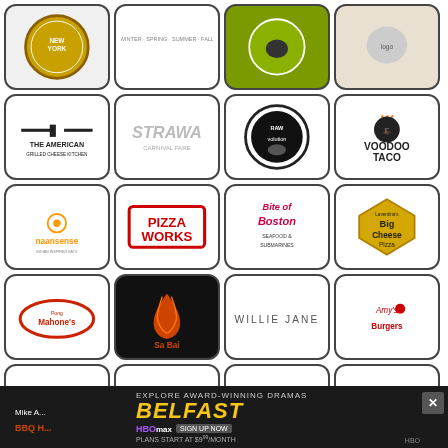[Figure (logo): New York style logo, circular gold badge]
[Figure (logo): Text logo: WINTER SPRING SUMMER FALL]
[Figure (logo): Green circular logo with animal silhouette]
[Figure (logo): Dark logo with animal illustration]
[Figure (logo): The American Grilled Cheese Kitchen logo]
[Figure (logo): STRAWA Carnival Fare logo]
[Figure (logo): Rawvolution circular logo]
[Figure (logo): Voodoo Taco logo with top hat character]
[Figure (logo): Naansense orange circular logo]
[Figure (logo): Pizza Works red logo]
[Figure (logo): Bite of Boston Seafood and Submarines]
[Figure (logo): Laventina's Big Cheese Pizza yellow badge]
[Figure (logo): Pong Mahone's red oval logo]
[Figure (logo): Sa Bai Restaurant orange flame logo on black]
[Figure (logo): Willie Jane text logo on white]
[Figure (logo): Amy's Drive Burgers logo]
[Figure (logo): Santa Cruz Swingers logo with American flag]
[Figure (logo): The Sicilian Thing Pizza red logo]
[Figure (logo): The Commons Woodinville text logo]
[Figure (logo): Carmen's Pizza red script logo]
[Figure (logo): Mike Anderson's BBQ House logo partial]
[Figure (infographic): Belfast HBO Max advertisement banner - EXPLORE AWARD-WINNING DRAMAS, BELFAST text, HBO Max logo, SIGN UP NOW, PLANS START AT $9.99/MONTH]